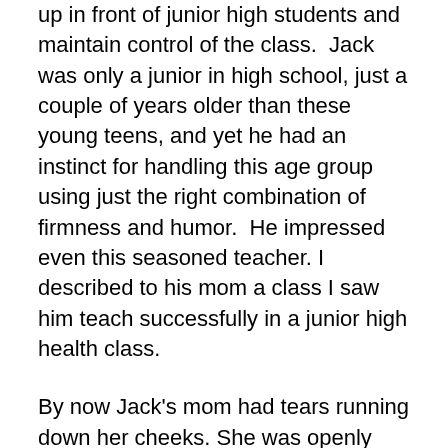up in front of junior high students and maintain control of the class.  Jack was only a junior in high school, just a couple of years older than these young teens, and yet he had an instinct for handling this age group using just the right combination of firmness and humor.  He impressed even this seasoned teacher. I described to his mom a class I saw him teach successfully in a junior high health class.
By now Jack's mom had tears running down her cheeks. She was openly crying. I knew that she was going to reveal that she had a life threatening illness.  I braced myself for the bad news and was thinking of encouraging things I might say in response.  I waited a few beats and asked, “So why the tears?”
Here’s what she said while trying hard to control her